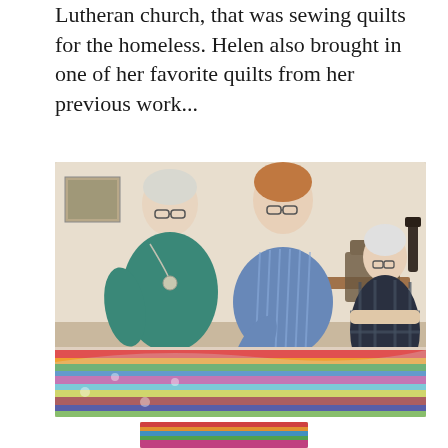Lutheran church, that was sewing quilts for the homeless. Helen also brought in one of her favorite quilts from her previous work...
[Figure (photo): Three elderly women in a room examining a colorful striped quilt laid on a table. The woman on the left wears a teal sweater and a necklace. The woman in the center wears a blue striped shirt and leans over the quilt. An older woman sits in a chair on the right. The quilt has vibrant multicolored stripes.]
[Figure (photo): Partial view of a colorful quilt, bottom of page.]